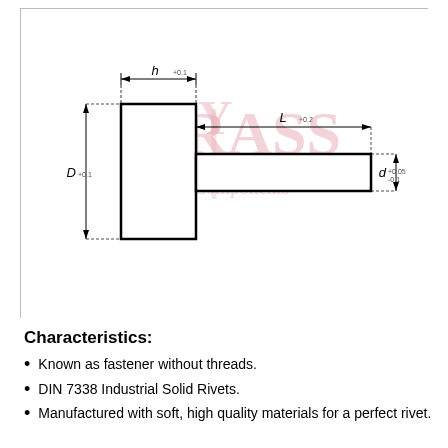[Figure (engineering-diagram): Technical drawing of a solid rivet (mushroom head / flat head type). Shows a side elevation with labeled dimensions: h (head height), L (total length), D (head diameter), and d (shaft diameter). Dimension lines and arrowheads are shown. A watermark logo of 'Brass Components' company appears in the center of the diagram.]
Characteristics:
Known as fastener without threads.
DIN 7338 Industrial Solid Rivets.
Manufactured with soft, high quality materials for a perfect rivet.